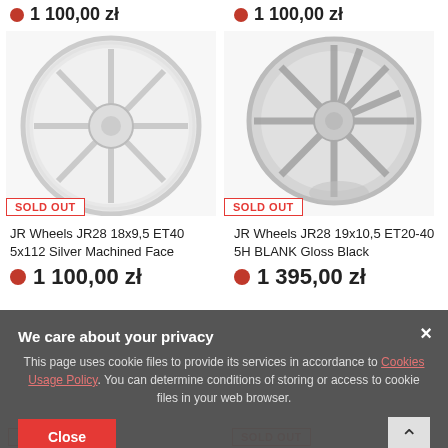1 100,00 zł (top left price)
1 100,00 zł (top right price)
[Figure (photo): Wheel image: JR Wheels JR28 18x9,5 ET40 5x112 Silver Machined Face with SOLD OUT badge]
[Figure (photo): Wheel image: JR Wheels JR28 19x10,5 ET20-40 5H BLANK Gloss Black with SOLD OUT badge]
JR Wheels JR28 18x9,5 ET40 5x112 Silver Machined Face
JR Wheels JR28 19x10,5 ET20-40 5H BLANK Gloss Black
1 100,00 zł
1 395,00 zł
We care about your privacy
This page uses cookie files to provide its services in accordance to Cookies Usage Policy. You can determine conditions of storing or access to cookie files in your web browser.
Close
SOLD OUT (bottom left)
SOLD OUT (bottom right)